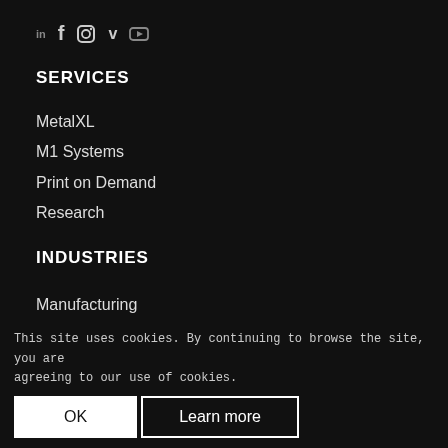in f [instagram] v [youtube]
SERVICES
MetalXL
M1 Systems
Print on Demand
Research
INDUSTRIES
Manufacturing
Architecture & Construction
Oil & Gas
Design
Art
This site uses cookies. By continuing to browse the site, you are agreeing to our use of cookies.
OK
Learn more